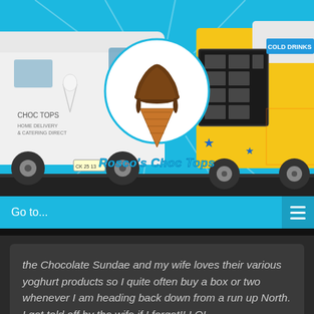[Figure (photo): Rosco's Choc Tops business header showing a white delivery van on the left, a yellow ice cream truck on the right, and a circular logo in the center featuring an ice cream cone with the text Rosco's Choc Tops, on a bright blue background]
Go to...
the Chocolate Sundae and my wife loves their various yoghurt products so I quite often buy a box or two whenever I am heading back down from a run up North. I get told off by the wife if I forget!! LOL
Matt Rudolph, St Marys, NSW